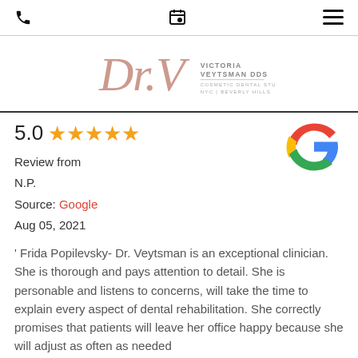[Figure (logo): Dr. V Victoria Veytsman DDS Cosmetic Dental Studios NYC | Beverly Hills logo]
5.0 ★★★★★
Review from
N.P.
Source: Google
Aug 05, 2021
[Figure (logo): Google G logo]
' Frida Popilevsky- Dr. Veytsman is an exceptional clinician. She is thorough and pays attention to detail. She is personable and listens to concerns, will take the time to explain every aspect of dental rehabilitation. She correctly promises that patients will leave her office happy because she will adjust as often as needed